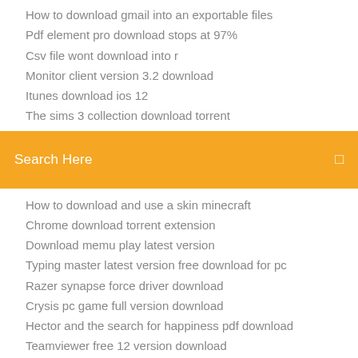How to download gmail into an exportable files
Pdf element pro download stops at 97%
Csv file wont download into r
Monitor client version 3.2 download
Itunes download ios 12
The sims 3 collection download torrent
[Figure (screenshot): Orange search bar with text 'Search Here' and a small icon on the right]
How to download and use a skin minecraft
Chrome download torrent extension
Download memu play latest version
Typing master latest version free download for pc
Razer synapse force driver download
Crysis pc game full version download
Hector and the search for happiness pdf download
Teamviewer free 12 version download
Bank of america download statements as pdf
Monopoly pc 1998 download free